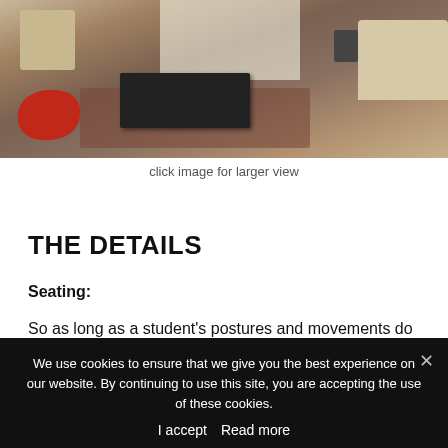[Figure (photo): Interior photo of a lounge/classroom space with a red bean bag chair, dark coffee table, patterned rug, beige sofa, and chairs. Bright window light in the background.]
click image for larger view
THE DETAILS
Seating:
So as long as a student's postures and movements do not disrupt others' learning and comfort, they are literally allowed to choose any number of places to land
We use cookies to ensure that we give you the best experience on our website. By continuing to use this site, you are accepting the use of these cookies.
I accept   Read more